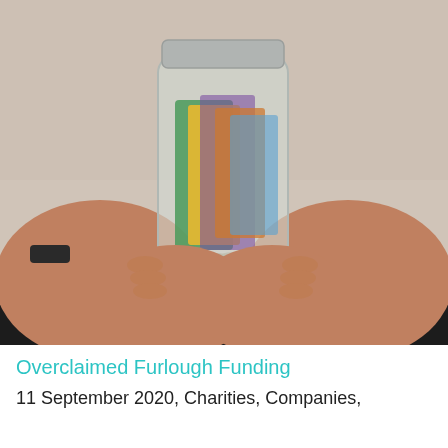[Figure (photo): A person holding a glass jar filled with banknotes and coins toward the camera, against a light background. The person is wearing a black shirt and a dark wristwatch.]
Overclaimed Furlough Funding
11 September 2020, Charities, Companies,